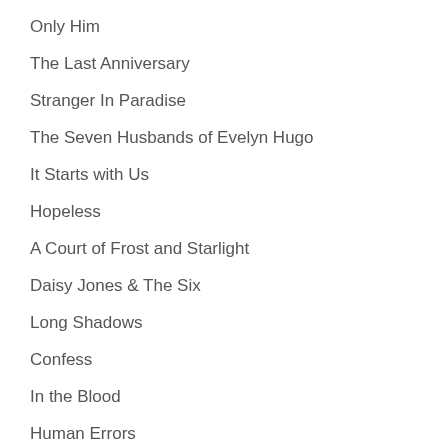Only Him
The Last Anniversary
Stranger In Paradise
The Seven Husbands of Evelyn Hugo
It Starts with Us
Hopeless
A Court of Frost and Starlight
Daisy Jones & The Six
Long Shadows
Confess
In the Blood
Human Errors